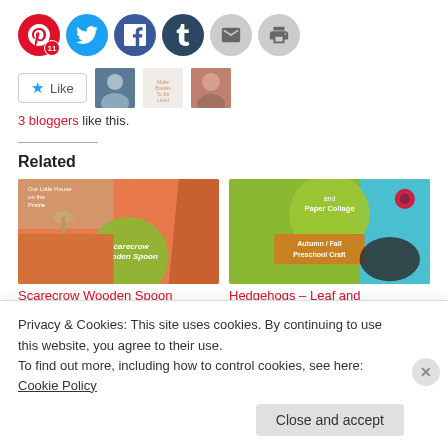[Figure (screenshot): Social share buttons: Pinterest (with badge 11), Twitter, Facebook, Tumblr, Email, Print]
[Figure (screenshot): Like button with star icon and two blogger avatars]
3 bloggers like this.
Related
[Figure (photo): Scarecrow Wooden Spoon craft image with orange and tan tones and circular green label]
Scarecrow Wooden Spoon
[Figure (photo): Hedgehogs – Leaf and Paper Collage preschool craft image with green circle and autumn label]
Hedgehogs – Leaf and
Privacy & Cookies: This site uses cookies. By continuing to use this website, you agree to their use.
To find out more, including how to control cookies, see here: Cookie Policy
Close and accept